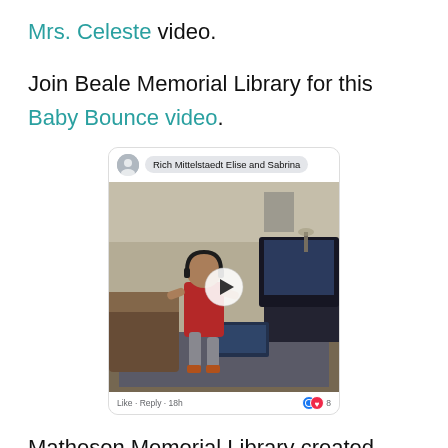Mrs. Celeste video.
Join Beale Memorial Library for this Baby Bounce video.
[Figure (screenshot): Facebook comment screenshot showing a video thumbnail of a child dancing in a living room with headphones, with a play button overlay. Header shows 'Rich Mittelstaedt Elise and Sabrina'. Footer shows 'Like · Reply · 18h' with reaction icons.]
Matheson Memorial Library created this exercise board game to play at